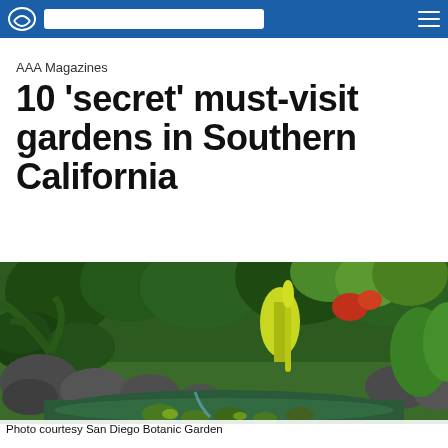AAA (website header with logo and search bar)
AAA Magazines
10 'secret' must-visit gardens in Southern California
[Figure (photo): Lush garden scene with a lily pond, large rocks, tropical plants, ferns, and flowering plants in bright sunlight — San Diego Botanic Garden]
Photo courtesy San Diego Botanic Garden